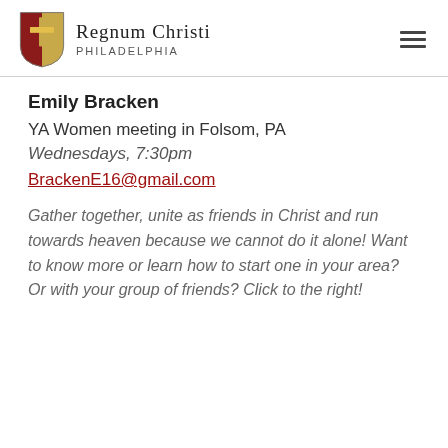Regnum Christi Philadelphia
Emily Bracken
YA Women meeting in Folsom, PA
Wednesdays, 7:30pm
BrackenE16@gmail.com
Gather together, unite as friends in Christ and run towards heaven because we cannot do it alone! Want to know more or learn how to start one in your area? Or with your group of friends? Click to the right!